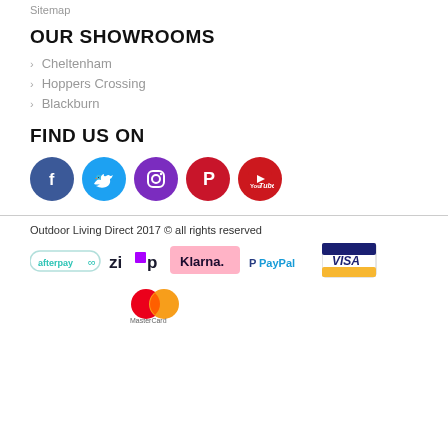Sitemap
OUR SHOWROOMS
Cheltenham
Hoppers Crossing
Blackburn
FIND US ON
[Figure (infographic): Social media icons row: Facebook, Twitter, Instagram, Pinterest, YouTube]
Outdoor Living Direct 2017 © all rights reserved
[Figure (infographic): Payment method logos: afterpay, zip, Klarna, PayPal, Visa, MasterCard]